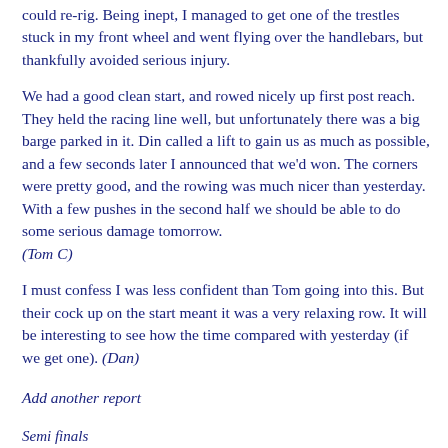could re-rig. Being inept, I managed to get one of the trestles stuck in my front wheel and went flying over the handlebars, but thankfully avoided serious injury.
We had a good clean start, and rowed nicely up first post reach. They held the racing line well, but unfortunately there was a big barge parked in it. Din called a lift to gain us as much as possible, and a few seconds later I announced that we'd won. The corners were pretty good, and the rowing was much nicer than yesterday. With a few pushes in the second half we should be able to do some serious damage tomorrow. (Tom C)
I must confess I was less confident than Tom going into this. But their cock up on the start meant it was a very relaxing row. It will be interesting to see how the time compared with yesterday (if we get one). (Dan)
Add another report
Semi finals
Beat Christs (6s)